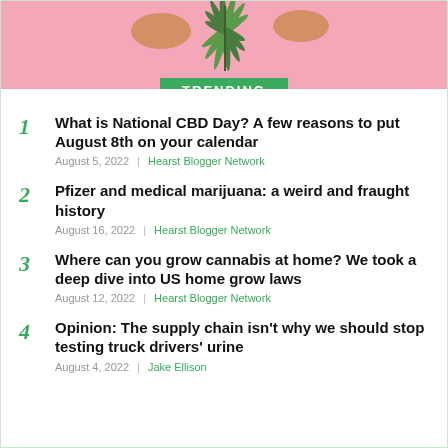[Figure (photo): Hands holding a cannabis leaf against a pink background]
TRENDING
What is National CBD Day? A few reasons to put August 8th on your calendar — August 5, 2022 | Hearst Blogger Network
Pfizer and medical marijuana: a weird and fraught history — August 16, 2022 | Hearst Blogger Network
Where can you grow cannabis at home? We took a deep dive into US home grow laws — August 12, 2022 | Hearst Blogger Network
Opinion: The supply chain isn't why we should stop testing truck drivers' urine — August 4, 2022 | Jake Ellison